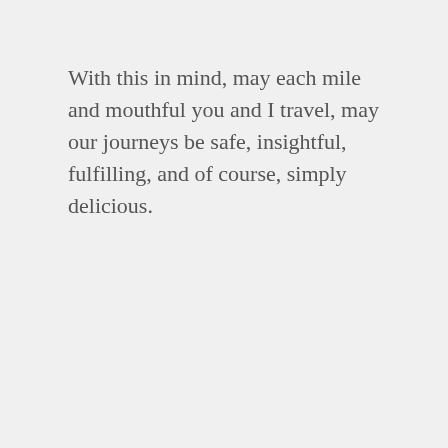With this in mind, may each mile and mouthful you and I travel, may our journeys be safe, insightful, fulfilling, and of course, simply delicious.
Share this:
Facebook  Twitter  LinkedIn
Like  7 bloggers like this.